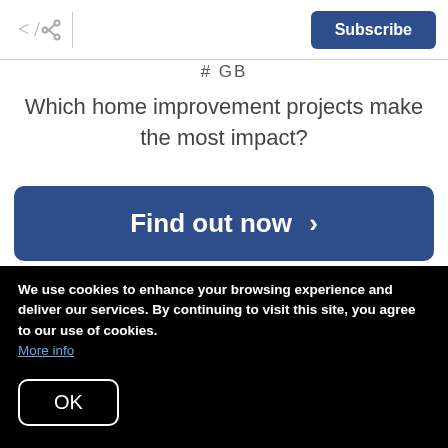Subscribe
# GB
Which home improvement projects make the most impact?
Find out now >
receive an offer you want to accept, you still have to consider fees. Though your fee will vary, the
We use cookies to enhance your browsing experience and deliver our services. By continuing to visit this site, you agree to our use of cookies. More info
OK